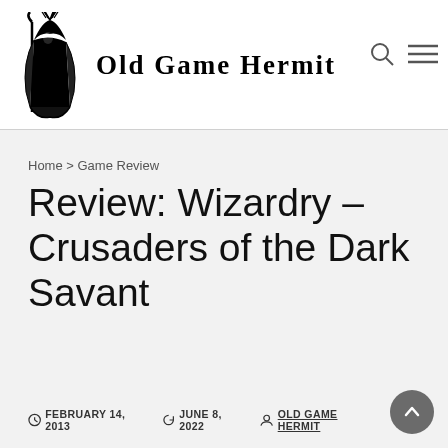Old Game Hermit
Home > Game Review
Review: Wizardry – Crusaders of the Dark Savant
FEBRUARY 14, 2013  JUNE 8, 2022  OLD GAME HERMIT